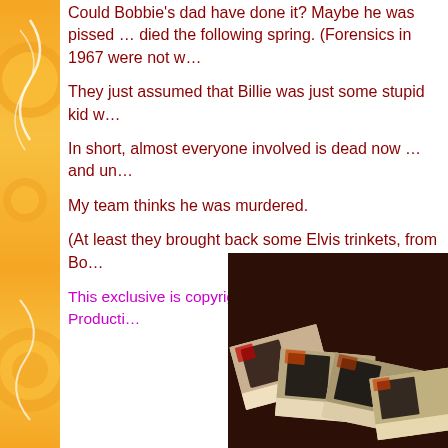Could Bobbie's dad have done it? Maybe he was pissed … died the following spring. (Forensics in 1967 were not w…
They just assumed that Billie was just some stupid kid w…
In short, almost everyone involved is dead now … and un…
My team thinks he was murdered.
(At least they brought back some Elvis trinkets, from Bo…
This exclusive is copyrighted © 2022, by Sleazy Producti…
[Figure (photo): A photograph showing scattered Elvis Presley portrait cards/photos spread on a dark reddish-brown surface.]